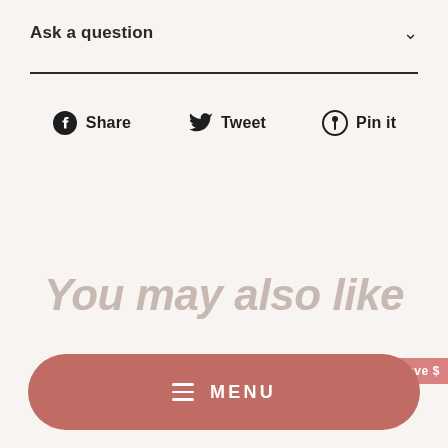Ask a question
Share   Tweet   Pin it
You may also like
Save
MENU